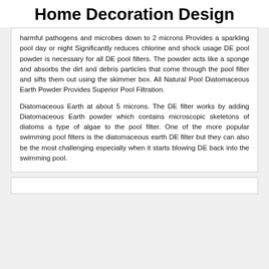Home Decoration Design
harmful pathogens and microbes down to 2 microns Provides a sparkling pool day or night Significantly reduces chlorine and shock usage DE pool powder is necessary for all DE pool filters. The powder acts like a sponge and absorbs the dirt and debris particles that come through the pool filter and sifts them out using the skimmer box. All Natural Pool Diatomaceous Earth Powder Provides Superior Pool Filtration.
Diatomaceous Earth at about 5 microns. The DE filter works by adding Diatomaceous Earth powder which contains microscopic skeletons of diatoms a type of algae to the pool filter. One of the more popular swimming pool filters is the diatomaceous earth DE filter but they can also be the most challenging especially when it starts blowing DE back into the swimming pool.